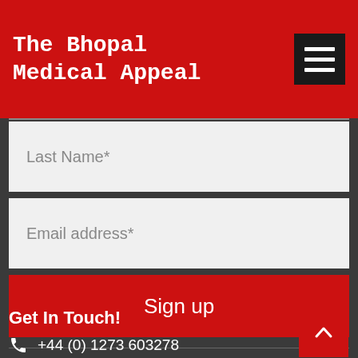The Bhopal Medical Appeal
Last Name*
Email address*
Sign up
Get In Touch!
+44 (0) 1273 603278